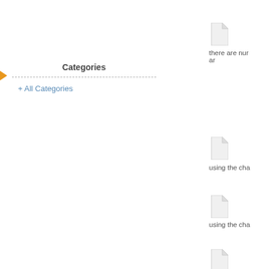Categories
+ All Categories
[Figure (illustration): Document/file icon (light gray page with folded corner)]
there are num ar
[Figure (illustration): Document/file icon (light gray page with folded corner)]
using the cha
[Figure (illustration): Document/file icon (light gray page with folded corner)]
using the cha
[Figure (illustration): Document/file icon (light gray page with folded corner)]
using the cha
[Figure (illustration): Document/file icon (light gray page with folded corner)]
saving mor
[Figure (illustration): Document/file icon (light gray page with folded corner)]